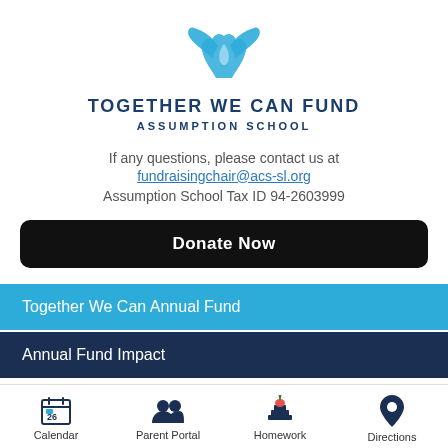[Figure (logo): Together We Can Fund logo with two blue hands reaching upward]
TOGETHER WE CAN FUND
ASSUMPTION SCHOOL
If any questions, please contact us at
fundraisingchair@acs-sl.org
Assumption School Tax ID 94-2603999
Donate Now
Together We Can Annual Fund
Annual Fund Impact
Calendar | Parent Portal | Homework | Directions